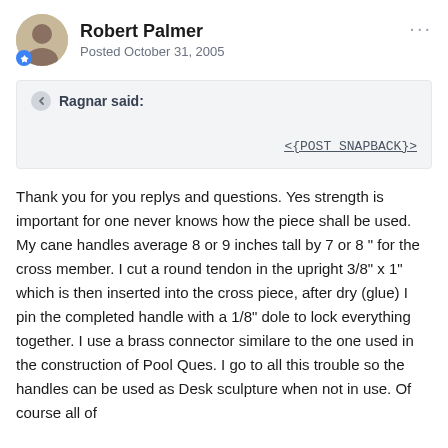Robert Palmer
Posted October 31, 2005
Ragnar said:
<{POST_SNAPBACK}>
Thank you for you replys and questions. Yes strength is important for one never knows how the piece shall be used. My cane handles average 8 or 9 inches tall by 7 or 8 " for the cross member. I cut a round tendon in the upright 3/8" x 1" which is then inserted into the cross piece, after dry (glue) I pin the completed handle with a 1/8" dole to lock everything together. I use a brass connector similare to the one used in the construction of Pool Ques. I go to all this trouble so the handles can be used as Desk sculpture when not in use. Of course all of